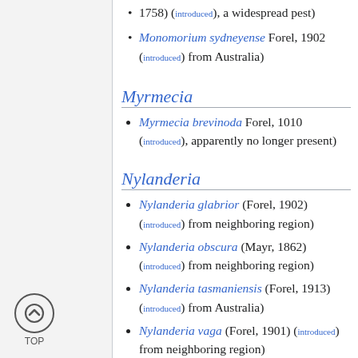1758) ((introduced), a widespread pest)
Monomorium sydneyense Forel, 1902 ((introduced) from Australia)
Myrmecia
Myrmecia brevinoda Forel, 1010 ((introduced), apparently no longer present)
Nylanderia
Nylanderia glabrior (Forel, 1902) ((introduced) from neighboring region)
Nylanderia obscura (Mayr, 1862) ((introduced) from neighboring region)
Nylanderia tasmaniensis (Forel, 1913) ((introduced) from Australia)
Nylanderia vaga (Forel, 1901) ((introduced) from neighboring region)